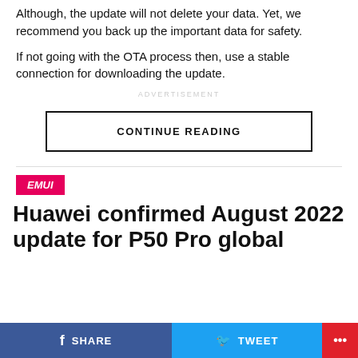Although, the update will not delete your data. Yet, we recommend you back up the important data for safety.
If not going with the OTA process then, use a stable connection for downloading the update.
ADVERTISEMENT
CONTINUE READING
EMUI
Huawei confirmed August 2022 update for P50 Pro global
SHARE   TWEET   ...